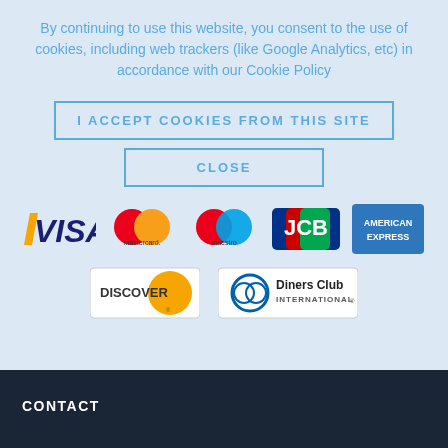By continuing to use this website, you consent to the use of cookies, including web trackers (like Google Analytics, etc) in accordance with our Cookie Policy
I ACCEPT COOKIES FROM THIS SITE
CLOSE
[Figure (logo): Payment method logos: Visa, Mastercard, Maestro, JCB, American Express, Discover, Diners Club International]
CONTACT